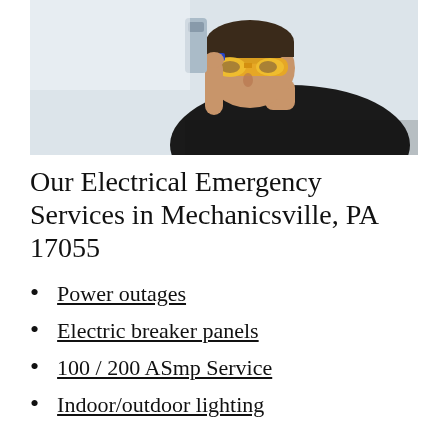[Figure (photo): A man wearing yellow safety goggles and a black t-shirt working close to a wall-mounted electrical device, viewed from the side in close-up.]
Our Electrical Emergency Services in Mechanicsville, PA 17055
Power outages
Electric breaker panels
100 / 200 ASmp Service
Indoor/outdoor lighting
Burning smell
Light flickering
Troubleshooting